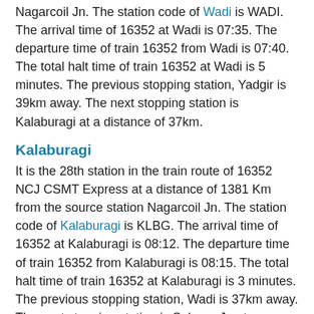Nagarcoil Jn. The station code of Wadi is WADI. The arrival time of 16352 at Wadi is 07:35. The departure time of train 16352 from Wadi is 07:40. The total halt time of train 16352 at Wadi is 5 minutes. The previous stopping station, Yadgir is 39km away. The next stopping station is Kalaburagi at a distance of 37km.
Kalaburagi
It is the 28th station in the train route of 16352 NCJ CSMT Express at a distance of 1381 Km from the source station Nagarcoil Jn. The station code of Kalaburagi is KLBG. The arrival time of 16352 at Kalaburagi is 08:12. The departure time of train 16352 from Kalaburagi is 08:15. The total halt time of train 16352 at Kalaburagi is 3 minutes. The previous stopping station, Wadi is 37km away. The next stopping station is Solapur Jn at a distance of 113km.
Solapur Jn
It is the 29th station in the train route of 16352 NCJ CSMT Express at a distance of 1494 Km from the source station Nagarcoil Jn. The station code of Solapur Jn is SUR. The arrival time of 16352 at Solapur Jn is 10:25. The departure